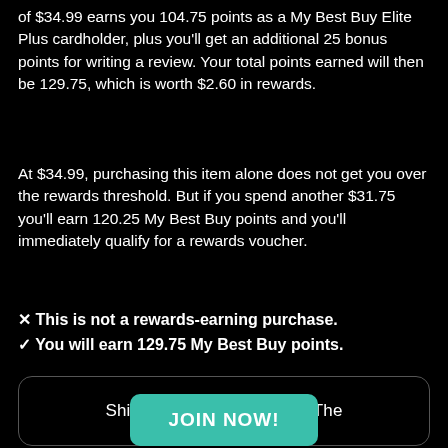of $34.99 earns you 104.75 points as a My Best Buy Elite Plus cardholder, plus you'll get an additional 25 bonus points for writing a review. Your total points earned will then be 129.75, which is worth $2.60 in rewards.
At $34.99, purchasing this item alone does not get you over the rewards threshold. But if you spend another $31.75 you'll earn 120.25 My Best Buy points and you'll immediately qualify for a rewards voucher.
✕ This is not a rewards-earning purchase.
✓ You will earn 129.75 My Best Buy points.
Shipping & Returns on the The
Reckless One [LP]
JOIN NOW!